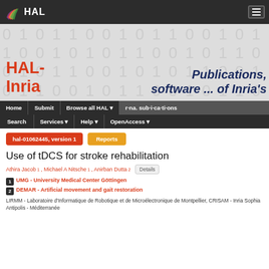HAL
[Figure (illustration): HAL-Inria banner with binary digit background, red HAL-Inria text and dark blue italic Publications, software ... of Inria's text]
Home | Submit | Browse all HAL | ma. sub i ations | Search | Services | Help | OpenAccess
hal-01062445, version 1    Reports
Use of tDCS for stroke rehabilitation
Athira Jacob 1 , Michael A Nitsche 1 , Anirban Dutta 2    Details
1 UMG - University Medical Center Göttingen
2 DEMAR - Artificial movement and gait restoration
LIRMM - Laboratoire d'Informatique de Robotique et de Microélectronique de Montpellier, CRISAM - Inria Sophia Antipolis - Méditerranée